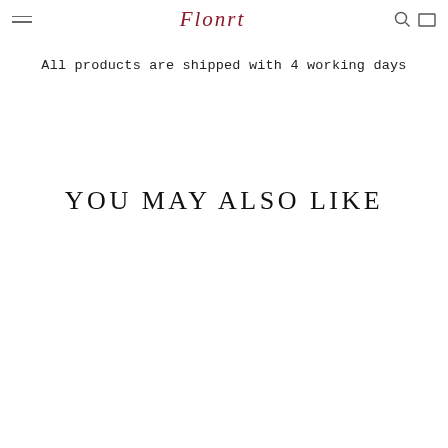Flonrt
All products are shipped with 4 working days
YOU MAY ALSO LIKE